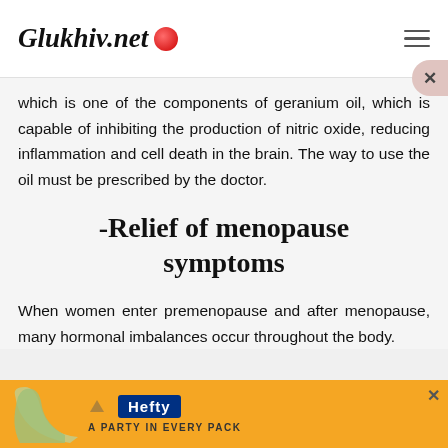Glukhiv.net
which is one of the components of geranium oil, which is capable of inhibiting the production of nitric oxide, reducing inflammation and cell death in the brain. The way to use the oil must be prescribed by the doctor.
-Relief of menopause symptoms
When women enter premenopause and after menopause, many hormonal imbalances occur throughout the body.
[Figure (infographic): Advertisement banner with orange background, Hefty logo in blue rectangle, decorative curve graphic]